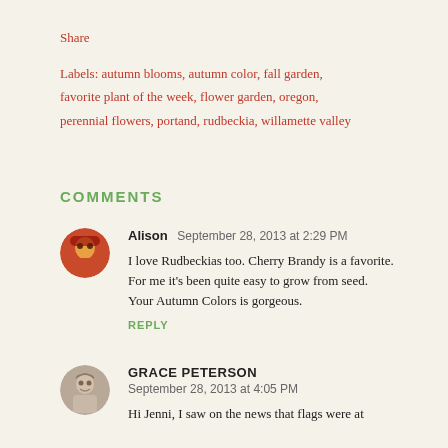Share
Labels: autumn blooms, autumn color, fall garden, favorite plant of the week, flower garden, oregon, perennial flowers, portand, rudbeckia, willamette valley
COMMENTS
Alison  September 28, 2013 at 2:29 PM
I love Rudbeckias too. Cherry Brandy is a favorite. For me it's been quite easy to grow from seed. Your Autumn Colors is gorgeous.
REPLY
GRACE PETERSON  September 28, 2013 at 4:05 PM
Hi Jenni, I saw on the news that flags were at